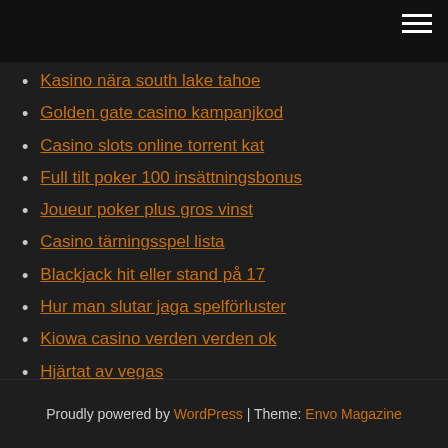Kasino nära south lake tahoe
Golden gate casino kampanjkod
Casino slots online torrent kat
Full tilt poker 100 insättningsbonus
Joueur poker plus gros vinst
Casino tärningsspel lista
Blackjack hit eller stand på 17
Hur man slutar jaga spelförluster
Kiowa casino verden verden ok
Hjärtat av vegas
Gratis monopolbingospel
Proudly powered by WordPress | Theme: Envo Magazine